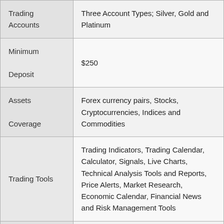| Feature | Details |
| --- | --- |
| Trading Accounts | Three Account Types; Silver, Gold and Platinum |
| Minimum Deposit | $250 |
| Assets Coverage | Forex currency pairs, Stocks, Cryptocurrencies, Indices and Commodities |
| Trading Tools | Trading Indicators, Trading Calendar, Calculator, Signals, Live Charts, Technical Analysis Tools and Reports, Price Alerts, Market Research, Economic Calendar, Financial News and Risk Management Tools |
| Education and Training | Yes; e-books, online video courses, webinars, seminars, tutorials, in-depth research and glossary |